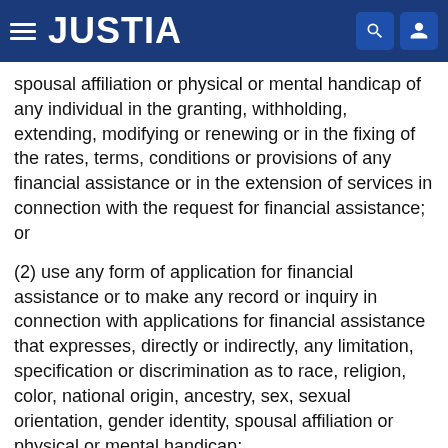JUSTIA
spousal affiliation or physical or mental handicap of any individual in the granting, withholding, extending, modifying or renewing or in the fixing of the rates, terms, conditions or provisions of any financial assistance or in the extension of services in connection with the request for financial assistance; or
(2) use any form of application for financial assistance or to make any record or inquiry in connection with applications for financial assistance that expresses, directly or indirectly, any limitation, specification or discrimination as to race, religion, color, national origin, ancestry, sex, sexual orientation, gender identity, spousal affiliation or physical or mental handicap;
l. any person or employer to:
(1) aid, abet, incite, compel or coerce the doing of any